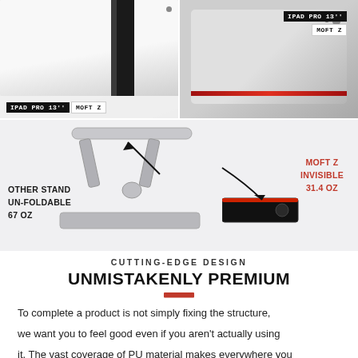[Figure (photo): Top-left: Close-up photo of iPad Pro 13" with MOFT Z stand/strap attached, showing product labels]
[Figure (photo): Top-right: Close-up photo of MOFT Z stand against iPad Pro 13" corner, showing red edge trim and product labels]
[Figure (photo): Middle: Product comparison photo showing a large silver metal stand (Other Stand, Un-foldable, 67 oz) next to the thin MOFT Z Invisible stand (31.4 oz) with arrows pointing to each]
CUTTING-EDGE DESIGN
UNMISTAKENLY PREMIUM
To complete a product is not simply fixing the structure, we want you to feel good even if you aren't actually using it. The vast coverage of PU material makes everywhere you